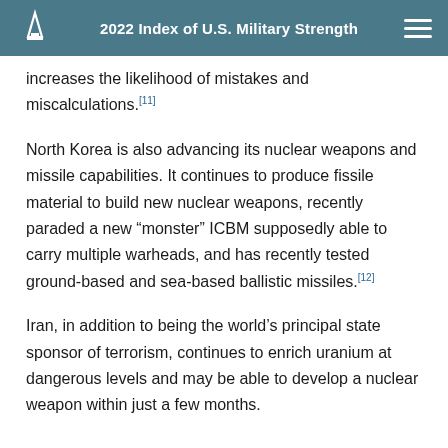2022 Index of U.S. Military Strength
increases the likelihood of mistakes and miscalculations.[11]
North Korea is also advancing its nuclear weapons and missile capabilities. It continues to produce fissile material to build new nuclear weapons, recently paraded a new “monster” ICBM supposedly able to carry multiple warheads, and has recently tested ground-based and sea-based ballistic missiles.[12]
Iran, in addition to being the world’s principal state sponsor of terrorism, continues to enrich uranium at dangerous levels and may be able to develop a nuclear weapon within just a few months.